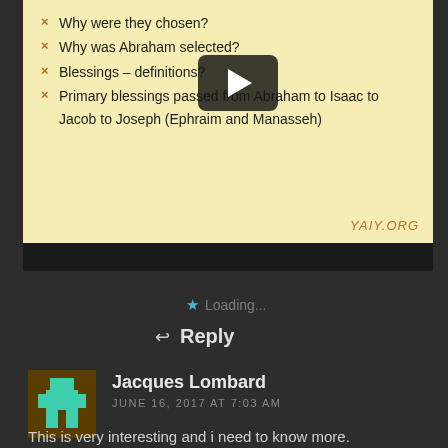[Figure (screenshot): Video thumbnail showing a presentation slide with bullet points about Abraham and blessings, with a YouTube-style play button overlay. Watermark reads YAIY.ORG. Bullet points: Why were they chosen?, Why was Abraham selected?, Blessings – definitions?, Primary blessings passed from Abraham to Isaac to Jacob to Joseph (Ephraim and Manasseh)]
Why were they chosen?
Why was Abraham selected?
Blessings – definitions?
Primary blessings passed from Abraham to Isaac to Jacob to Joseph (Ephraim and Manasseh)
Loading...
Reply
Jacques Lombard
JUNE 16, 2017 AT 7:03 AM
This is very interesting and i need to know more.